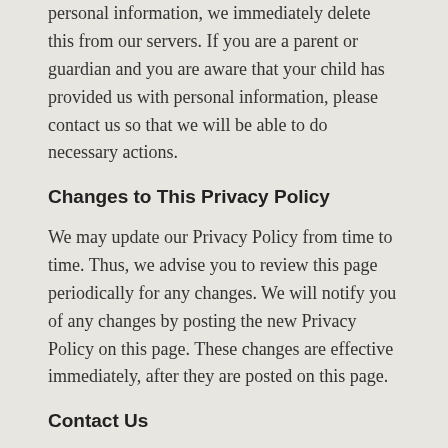personal information, we immediately delete this from our servers. If you are a parent or guardian and you are aware that your child has provided us with personal information, please contact us so that we will be able to do necessary actions.
Changes to This Privacy Policy
We may update our Privacy Policy from time to time. Thus, we advise you to review this page periodically for any changes. We will notify you of any changes by posting the new Privacy Policy on this page. These changes are effective immediately, after they are posted on this page.
Contact Us
If you have any questions or suggestions about our Privacy Policy, do not hesitate to contact us.